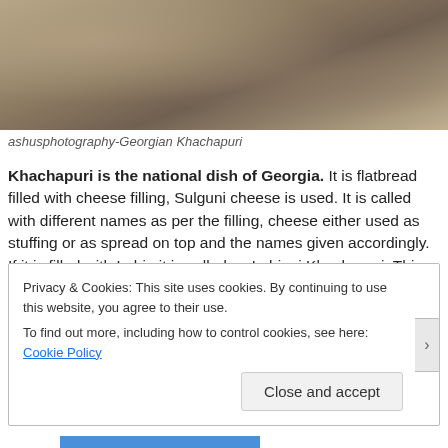[Figure (photo): Photo of Georgian Khachapuri flatbread dish, showing bread/pastry items on a white surface]
ashusphotography-Georgian Khachapuri
Khachapuri is the national dish of Georgia. It is flatbread filled with cheese filling, Sulguni cheese is used. It is called with different names as per the filling, cheese either used as stuffing or as spread on top and the names given accordingly.  If it is filled with Lobia it is called as Lobiani Khachapuri. This was more like our Indian flatbread- stuffed Naan, with a very cheesy tasting filling inside. It is a very rich dish.
Privacy & Cookies: This site uses cookies. By continuing to use this website, you agree to their use. To find out more, including how to control cookies, see here: Cookie Policy